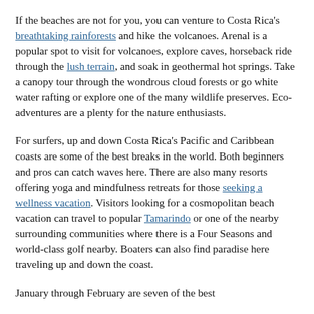If the beaches are not for you, you can venture to Costa Rica's breathtaking rainforests and hike the volcanoes. Arenal is a popular spot to visit for volcanoes, explore caves, horseback ride through the lush terrain, and soak in geothermal hot springs. Take a canopy tour through the wondrous cloud forests or go white water rafting or explore one of the many wildlife preserves. Eco-adventures are a plenty for the nature enthusiasts.
For surfers, up and down Costa Rica's Pacific and Caribbean coasts are some of the best breaks in the world. Both beginners and pros can catch waves here. There are also many resorts offering yoga and mindfulness retreats for those seeking a wellness vacation. Visitors looking for a cosmopolitan beach vacation can travel to popular Tamarindo or one of the nearby surrounding communities where there is a Four Seasons and world-class golf nearby. Boaters can also find paradise here traveling up and down the coast.
January through February are seven of the best...